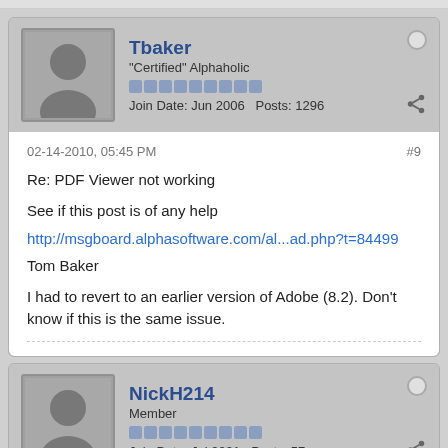Tbaker
"Certified" Alphaholic
Join Date: Jun 2006  Posts: 1296
02-14-2010, 05:45 PM
#9
Re: PDF Viewer not working
See if this post is of any help
http://msgboard.alphasoftware.com/al...ad.php?t=84499
Tom Baker
I had to revert to an earlier version of Adobe (8.2). Don't know if this is the same issue.
NickH214
Member
Join Date: Jul 2001  Posts: 57